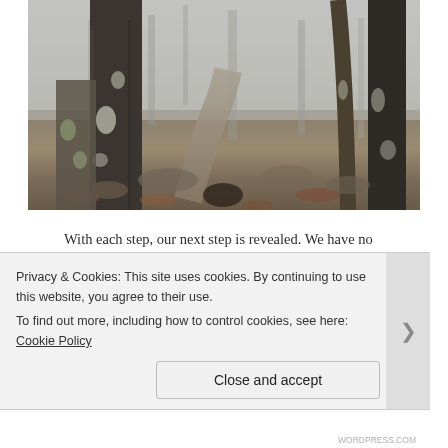[Figure (photo): A misty, foggy forest path with bare trees covered in moss. Dead leaves on the rocky ground. Atmospheric and moody scene with low visibility through the fog.]
With each step, our next step is revealed. We have no idea where this path will lead us, or what we'll see when we reach the top. We know we're climbing. We feel the heaviness in our legs and the need to breathe deeper and faster. We feel the
Privacy & Cookies: This site uses cookies. By continuing to use this website, you agree to their use.
To find out more, including how to control cookies, see here: Cookie Policy
Close and accept